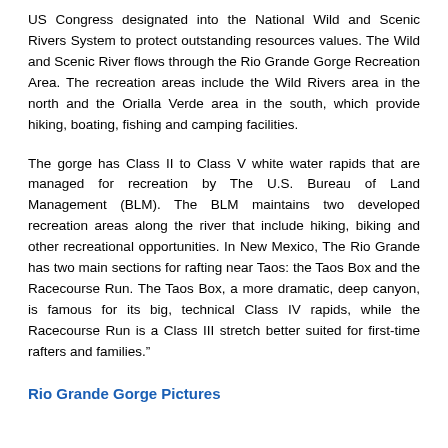US Congress designated into the National Wild and Scenic Rivers System to protect outstanding resources values. The Wild and Scenic River flows through the Rio Grande Gorge Recreation Area. The recreation areas include the Wild Rivers area in the north and the Orialla Verde area in the south, which provide hiking, boating, fishing and camping facilities.
The gorge has Class II to Class V white water rapids that are managed for recreation by The U.S. Bureau of Land Management (BLM). The BLM maintains two developed recreation areas along the river that include hiking, biking and other recreational opportunities. In New Mexico, The Rio Grande has two main sections for rafting near Taos: the Taos Box and the Racecourse Run. The Taos Box, a more dramatic, deep canyon, is famous for its big, technical Class IV rapids, while the Racecourse Run is a Class III stretch better suited for first-time rafters and families.”
Rio Grande Gorge Pictures